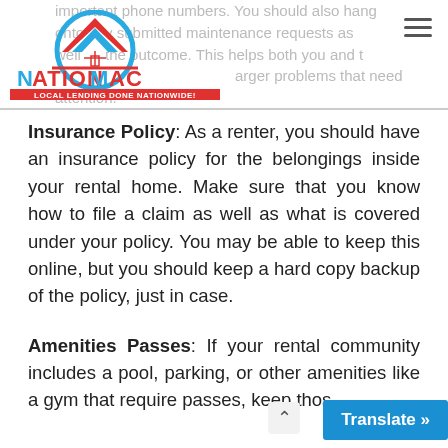important phone numbers. You should also hang onto any submitted maintenance requests as well as the outcome. This helps both you and the [landlord identify larger problems that need attention]
[Figure (logo): NationMac logo: red house outline with blue mountain/chevron, text NATIONMAC in blue and red, tagline LOCAL LENDING DONE NATIONWIDE! in red on white background]
Insurance Policy: As a renter, you should have an insurance policy for the belongings inside your rental home. Make sure that you know how to file a claim as well as what is covered under your policy. You may be able to keep this online, but you should keep a hard copy backup of the policy, just in case.
Amenities Passes: If your rental community includes a pool, parking, or other amenities like a gym that require passes, keep thos[e passes safe and accessible]